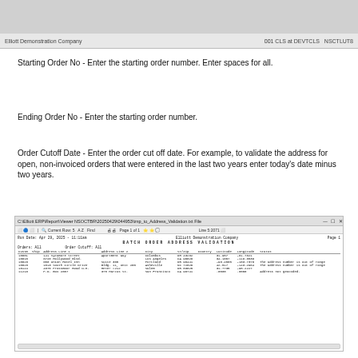Elliott Demonstration Company    001 CLS at DEVTCLS   NSCTLUT8
Starting Order No - Enter the starting order number. Enter spaces for all.
Ending Order No - Enter the starting order number.
Order Cutoff Date - Enter the order cut off date. For example, to validate the address for open, non-invoiced orders that were entered in the last two years enter today's date minus two years.
[Figure (screenshot): Screenshot of Elliott software showing BATCH ORDER ADDRESS VALIDATION report. Contains a table with columns: Custm, Ship, Address Line 1, Address Line 2, City, St/Zip, Country, Latitude, Longitude, Status. Several customer records are shown with addresses in cities including Columbus, Los Angeles, Portland, Asheville, Salem, San Francisco. Some records show error messages like 'The address number is out of range' and 'Address not geocoded'.]